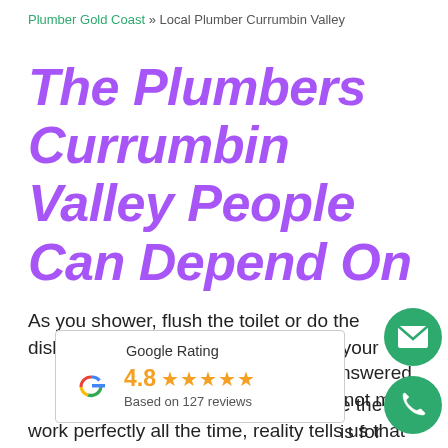Plumber Gold Coast » Local Plumber Currumbin Valley
The Plumbers Currumbin Valley People Can Depend On
As you shower, flush the toilet or do the dishes, how often do you think about your plumbing? If you answered 'not much', you're not alone. While the goal is for your plumbing and hot water system to work perfectly all the time, reality tells us that
[Figure (infographic): Google Rating widget showing 4.8 stars based on 127 reviews, with Google G logo and orange stars]
[Figure (infographic): Green circular email contact button with envelope icon]
[Figure (infographic): Green circular phone contact button with phone icon]